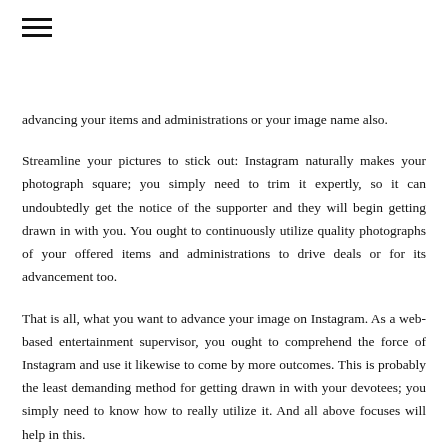≡
advancing your items and administrations or your image name also.
Streamline your pictures to stick out: Instagram naturally makes your photograph square; you simply need to trim it expertly, so it can undoubtedly get the notice of the supporter and they will begin getting drawn in with you. You ought to continuously utilize quality photographs of your offered items and administrations to drive deals or for its advancement too.
That is all, what you want to advance your image on Instagram. As a web-based entertainment supervisor, you ought to comprehend the force of Instagram and use it likewise to come by more outcomes. This is probably the least demanding method for getting drawn in with your devotees; you simply need to know how to really utilize it. And all above focuses will help in this.